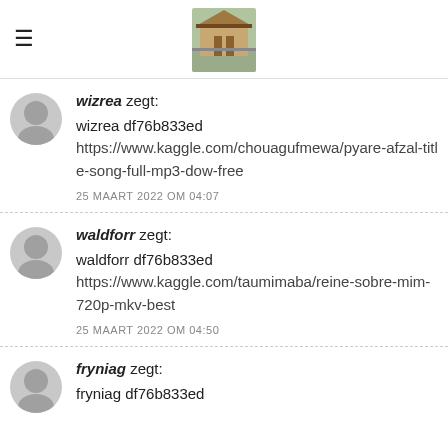[Figure (photo): Website header with hamburger menu icon on left and a photo of a wooden structure/carport in the center]
wizrea zegt:
wizrea df76b833ed
https://www.kaggle.com/chouagufmewa/pyare-afzal-title-song-full-mp3-dow-free
25 MAART 2022 OM 04:07
waldforr zegt:
waldforr df76b833ed
https://www.kaggle.com/taumimaba/reine-sobre-mim-720p-mkv-best
25 MAART 2022 OM 04:50
fryniag zegt:
fryniag df76b833ed